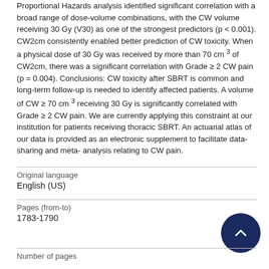Proportional Hazards analysis identified significant correlation with a broad range of dose-volume combinations, with the CW volume receiving 30 Gy (V30) as one of the strongest predictors (p < 0.001). CW2cm consistently enabled better prediction of CW toxicity. When a physical dose of 30 Gy was received by more than 70 cm³ of CW2cm, there was a significant correlation with Grade ≥ 2 CW pain (p = 0.004). Conclusions: CW toxicity after SBRT is common and long-term follow-up is needed to identify affected patients. A volume of CW ≥ 70 cm³ receiving 30 Gy is significantly correlated with Grade ≥ 2 CW pain. We are currently applying this constraint at our institution for patients receiving thoracic SBRT. An actuarial atlas of our data is provided as an electronic supplement to facilitate data-sharing and meta-analysis relating to CW pain.
| Field | Value |
| --- | --- |
| Original language | English (US) |
| Pages (from-to) | 1783-1790 |
| Number of pages |  |